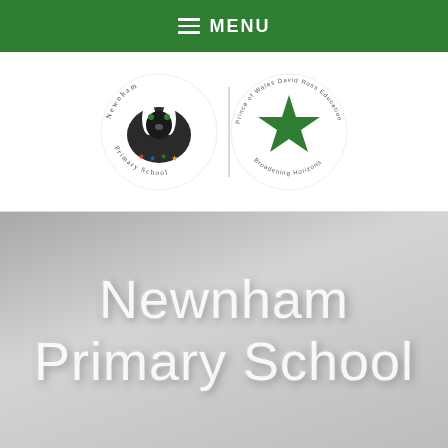MENU
[Figure (logo): Newnham Primary School logo (badger mascot with stars) and a star logo for a David Ross Education Trust, separated by a vertical line]
Newnham Primary School